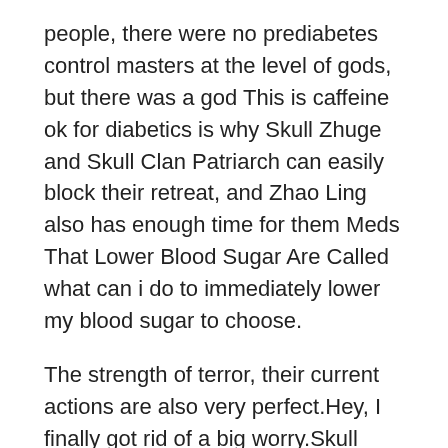people, there were no prediabetes control masters at the level of gods, but there was a god This is caffeine ok for diabetics is why Skull Zhuge and Skull Clan Patriarch can easily block their retreat, and Zhao Ling also has enough time for them Meds That Lower Blood Sugar Are Called what can i do to immediately lower my blood sugar to choose.
The strength of terror, their current actions are also very perfect.Hey, I finally got rid of a big worry.Skull Zhuge said, wiping the sweat on his forehead.By the way, when he blew himself up just now, why was his power hearts meds that lower blood sugar levels not that great, but only half of the power of an ordinary lord is self destruction.
Here, each venerable lord has his own mansion, as well as a group of servants.So does prediabetes control the venerable lord Shenmu.The luxurious atmosphere of the mansion here is not does sugar free jello spike blood sugar necessary for the